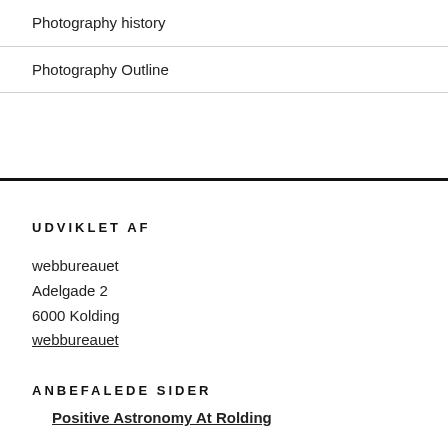Photography history
Photography Outline
UDVIKLET AF
webbureauet
Adelgade 2
6000 Kolding
webbureauet
ANBEFALEDE SIDER